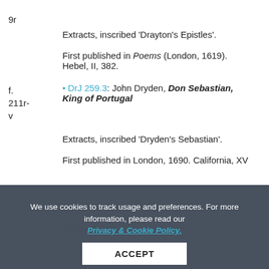9r
Extracts, inscribed 'Drayton's Epistles'.
First published in Poems (London, 1619). Hebel, II, 382.
• DrJ 259.3: John Dryden, Don Sebastian, King of Portugal
f. 211r-v
Extracts, inscribed 'Dryden's Sebastian'.
First published in London, 1690. California, XV (1976), pp. 57-219.
We use cookies to track usage and preferences. For more information, please read our Privacy & Cookie Policy.
ACCEPT